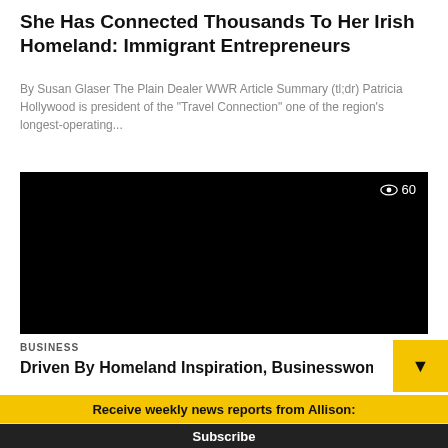She Has Connected Thousands To Her Irish Homeland: Immigrant Entrepreneurs
By Susan Glaser The Plain Dealer WWR Article Summary (tl;dr) Patricia Hollywood is president of the "Travel Connection" one of the region's longest-operating...
[Figure (screenshot): Black video player with eye icon and view count showing 60]
BUSINESS
Driven By Homeland Inspiration, Businesswoman.
Receive weekly news reports from Allison:
Enter Your Email Here
Subscribe